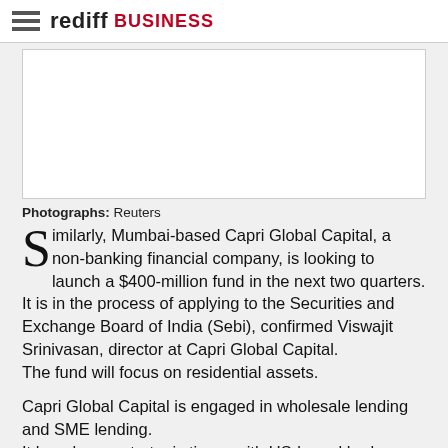rediff BUSINESS
[Figure (other): Advertisement placeholder box]
Photographs: Reuters
Similarly, Mumbai-based Capri Global Capital, a non-banking financial company, is looking to launch a $400-million fund in the next two quarters. It is in the process of applying to the Securities and Exchange Board of India (Sebi), confirmed Viswajit Srinivasan, director at Capri Global Capital. The fund will focus on residential assets.
Capri Global Capital is engaged in wholesale lending and SME lending. It has done a strategic tie-up with US-based hedge fund